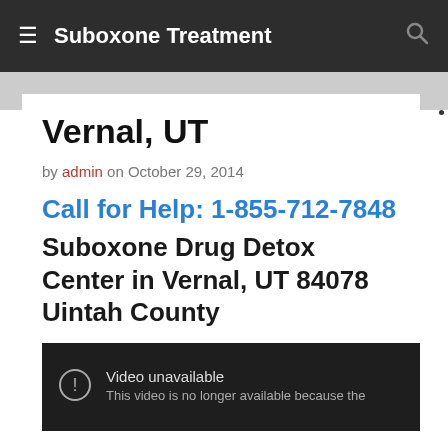Suboxone Treatment
Vernal, UT
by admin on October 29, 2014
Call for Help: 1-855-712-7848 Suboxone Drug Detox Center in Vernal, UT 84078 Uintah County
[Figure (screenshot): Video unavailable placeholder. Text: 'Video unavailable. This video is no longer available because the']